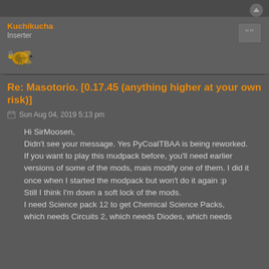Kuchikucha
Inserter
Re: Masotorio. [0.17.45 (anything higher at your own risk)]
Sun Aug 04, 2019 5:13 pm
Hi SirMoosen,
Didn't see your message. Yes PyCoalTBAA is being reworked.
If you want to play this mudpack before, you'll need earlier versions of some of the mods, mais modify one of them. I did it once when I started the modpack but won't do it again :p
Still I think I'm down a soft lock of the mods.
I need Science pack 12 to get Chemical Science Packs,
which needs Circuits 2, which needs Diodes, which needs